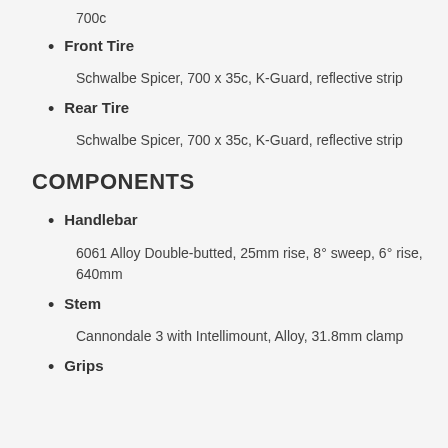700c
Front Tire
Schwalbe Spicer, 700 x 35c, K-Guard, reflective strip
Rear Tire
Schwalbe Spicer, 700 x 35c, K-Guard, reflective strip
COMPONENTS
Handlebar
6061 Alloy Double-butted, 25mm rise, 8° sweep, 6° rise, 640mm
Stem
Cannondale 3 with Intellimount, Alloy, 31.8mm clamp
Grips